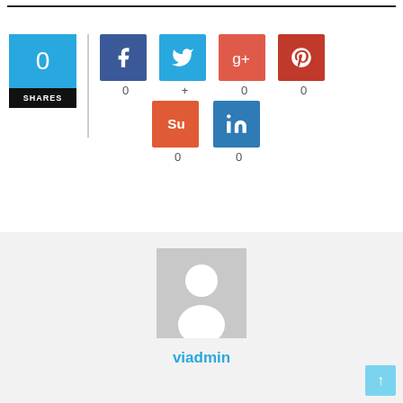[Figure (infographic): Social sharing widget showing 0 SHARES with icons for Facebook (0), Twitter (+), Google+ (0), Pinterest (0), StumbleUpon (0), LinkedIn (0)]
[Figure (photo): Generic user avatar placeholder (grey silhouette on grey background) with username 'viadmin' below in blue]